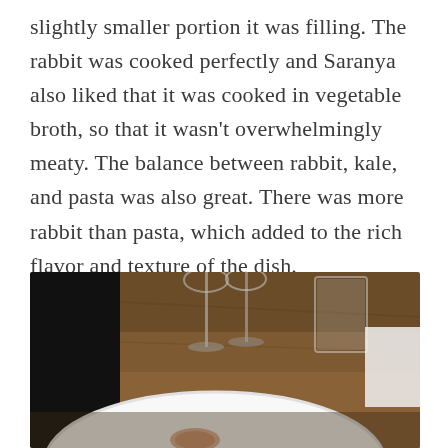slightly smaller portion it was filling. The rabbit was cooked perfectly and Saranya also liked that it was cooked in vegetable broth, so that it wasn't overwhelmingly meaty. The balance between rabbit, kale, and pasta was also great. There was more rabbit than pasta, which added to the rich flavor and texture of the dish.
[Figure (photo): Restaurant table scene showing a white bowl/plate in the foreground, with wine glasses and a water glass visible in the background on a wooden table surface in dim restaurant lighting.]